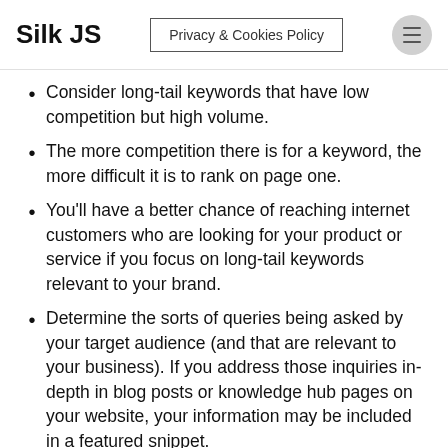Silk JS | Privacy & Cookies Policy
Consider long-tail keywords that have low competition but high volume.
The more competition there is for a keyword, the more difficult it is to rank on page one.
You'll have a better chance of reaching internet customers who are looking for your product or service if you focus on long-tail keywords relevant to your brand.
Determine the sorts of queries being asked by your target audience (and that are relevant to your business). If you address those inquiries in-depth in blog posts or knowledge hub pages on your website, your information may be included in a featured snippet.
Collaborate with a web development business to enhance the technical components of your